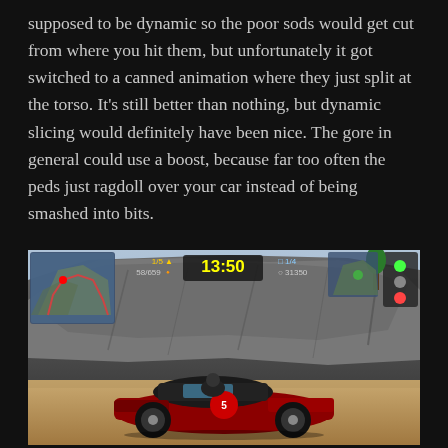supposed to be dynamic so the poor sods would get cut from where you hit them, but unfortunately it got switched to a canned animation where they just split at the torso. It's still better than nothing, but dynamic slicing would definitely have been nice. The gore in general could use a boost, because far too often the peds just ragdoll over your car instead of being smashed into bits.
[Figure (screenshot): A video game screenshot showing a racing game HUD with timer reading 13:50, position 1/5, score 58/659, kills 1/4, points 31350, a minimap in the top-left, and a red classic car at the bottom against a rocky cliff backdrop.]